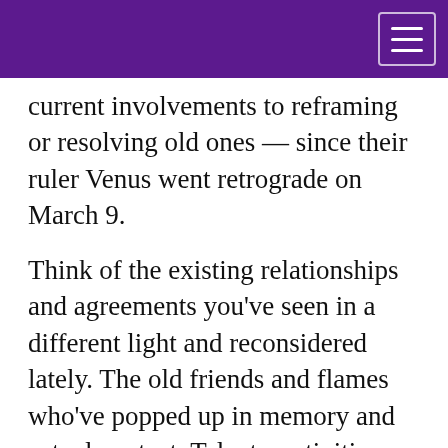current involvements to reframing or resolving old ones — since their ruler Venus went retrograde on March 9.
Think of the existing relationships and agreements you’ve seen in a different light and reconsidered lately. The old friends and flames who’ve popped up in memory and actual contact. Talents, activities and projects from the past that have reared their heads. Unfinished business you’ve encountered and dealt with (tax prep, anyone?) in the past month.
We’re still processing as the Libra Full Moon moves into place and all these threads weave